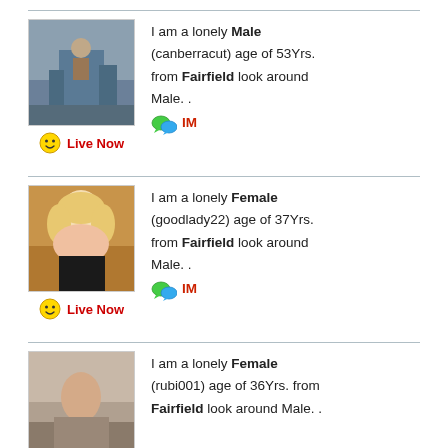I am a lonely Male (canberracut) age of 53Yrs. from Fairfield look around Male. .
[Figure (photo): Profile photo of male user canberracut]
I am a lonely Female (goodlady22) age of 37Yrs. from Fairfield look around Male. .
[Figure (photo): Profile photo of female user goodlady22]
I am a lonely Female (rubi001) age of 36Yrs. from Fairfield look around Male. .
[Figure (photo): Profile photo of female user rubi001]